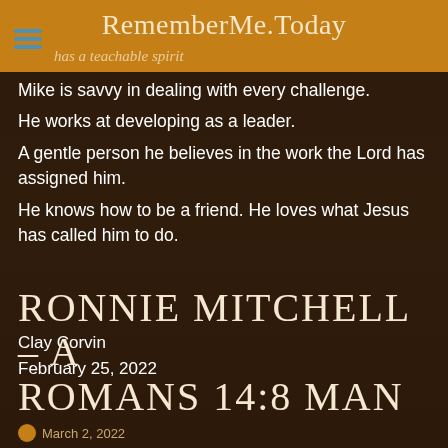RememberMe.Today
has a teachable spirit
Mike is savvy in dealing with every challenge.
He works at developing as a leader.
A gentle person he believes in the work the Lord has assigned him.
He knows how to be a friend. He loves what Jesus has called him to do.
Clay Corvin
February 25, 2022
RONNIE MITCHELL – A ROMANS 14:8 MAN
March 2, 2022